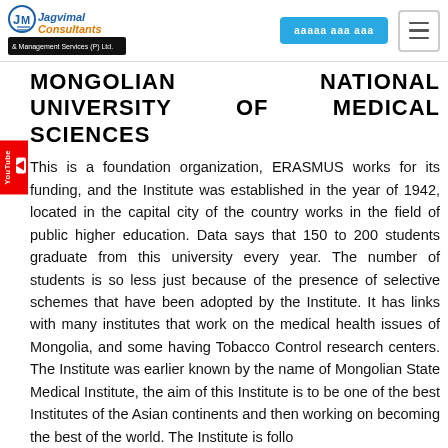Jagvimal Consultants & Management Services (P) Ltd.
MONGOLIAN NATIONAL UNIVERSITY OF MEDICAL SCIENCES
This is a foundation organization, ERASMUS works for its funding, and the Institute was established in the year of 1942, located in the capital city of the country works in the field of public higher education. Data says that 150 to 200 students graduate from this university every year. The number of students is so less just because of the presence of selective schemes that have been adopted by the Institute. It has links with many institutes that work on the medical health issues of Mongolia, and some having Tobacco Control research centers. The Institute was earlier known by the name of Mongolian State Medical Institute, the aim of this Institute is to be one of the best Institutes of the Asian continents and then working on becoming the best of the world. The Institute is follow...